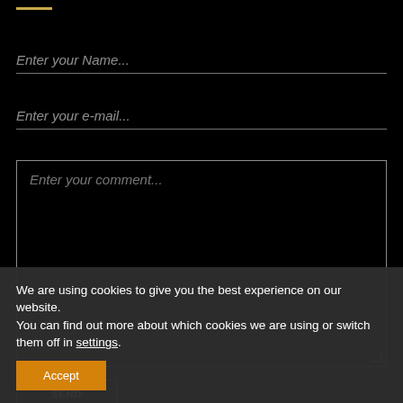[Figure (screenshot): Web contact form on black background with fields: Enter your Name..., Enter your e-mail..., Enter your comment... textarea, and a SEND button with orange border. A cookie consent banner overlays the bottom portion.]
Enter your Name...
Enter your e-mail...
Enter your comment...
SEND
We are using cookies to give you the best experience on our website.
You can find out more about which cookies we are using or switch them off in settings.
Accept